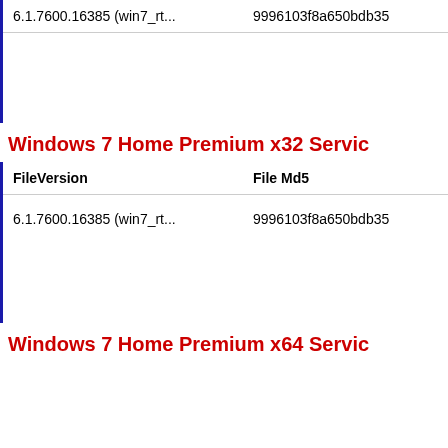| FileVersion | File Md5 |
| --- | --- |
| 6.1.7600.16385 (win7_rt... | 9996103f8a650bdb35 |
Windows 7 Home Premium x32 Servic
| FileVersion | File Md5 |
| --- | --- |
| 6.1.7600.16385 (win7_rt... | 9996103f8a650bdb35 |
Windows 7 Home Premium x64 Servic